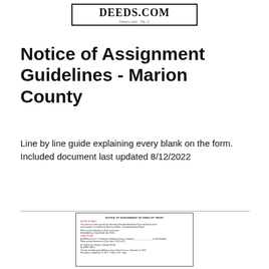[Figure (logo): DEEDS.COM logo in a rectangular border with small tagline text below]
Notice of Assignment Guidelines - Marion County
Line by line guide explaining every blank on the form.
Included document last updated 8/12/2022
[Figure (screenshot): Thumbnail preview of the Notice of Assignment form for Marion County showing red and black instructional text]